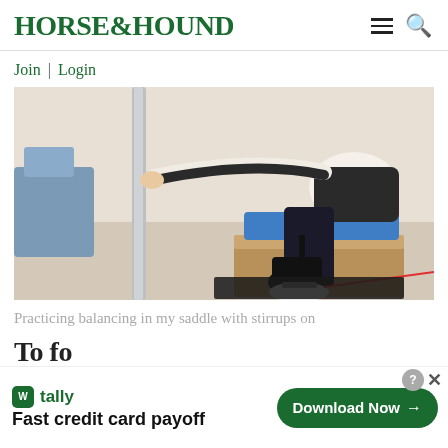HORSE&HOUND
Join | Login
[Figure (photo): Person sitting on a saddle mounted on a wooden box/stand, holding a metal pole for balance, wearing black riding pants and short boots with stirrups in an indoor setting. A red laser line is visible on the floor.]
Practicing balancing in my saddle with stirrups on
To fo
tally Fast credit card payoff
Download Now →